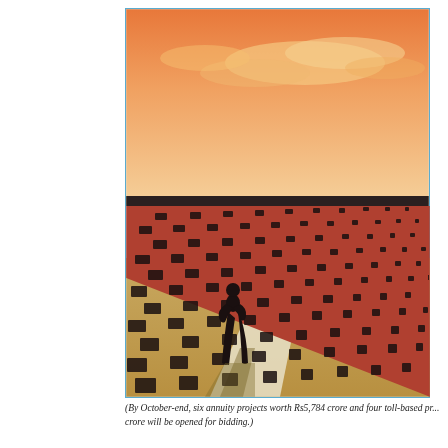[Figure (illustration): Illustration showing a lone silhouetted figure of a person standing before a very large red brick wall with a repetitive perforated pattern of rectangular openings. The wall extends in perspective to the right. The floor is a sandy/golden color with a white path and shadow cast by the figure. The sky above is orange with light cloud shapes. The image has a blue/teal border.]
(By October-end, six annuity projects worth Rs5,784 crore and four toll-based projects worth crore will be opened for bidding.)